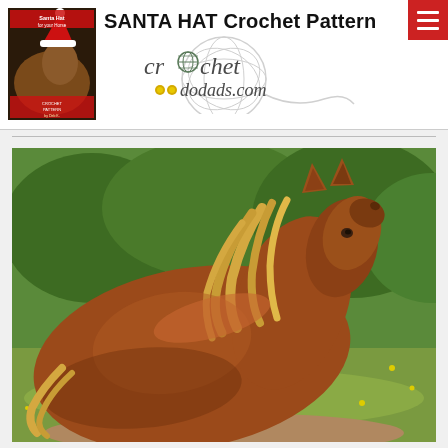[Figure (screenshot): Website header for crochetdodads.com showing SANTA HAT Crochet Pattern with a book cover thumbnail of a horse wearing a santa hat, crochet yarn ball logo, site name, and hamburger menu button]
[Figure (photo): Chestnut/sorrel horse with flowing blonde mane photographed outdoors in a meadow with green trees and yellow wildflowers in background, horse is facing right with head turned, golden hour lighting]